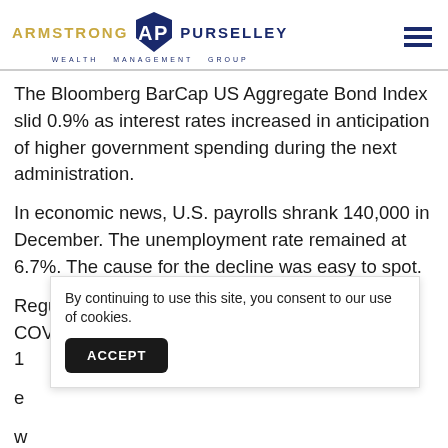ARMSTRONG AP PURSELLEY WEALTH MANAGEMENT GROUP
The Bloomberg BarCap US Aggregate Bond Index slid 0.9% as interest rates increased in anticipation of higher government spending during the next administration.
In economic news, U.S. payrolls shrank 140,000 in December. The unemployment rate remained at 6.7%. The cause for the decline was easy to spot.
Regulations enacted to reduce the spread of COVID-1
By continuing to use this site, you consent to our use of cookies.
ACCEPT